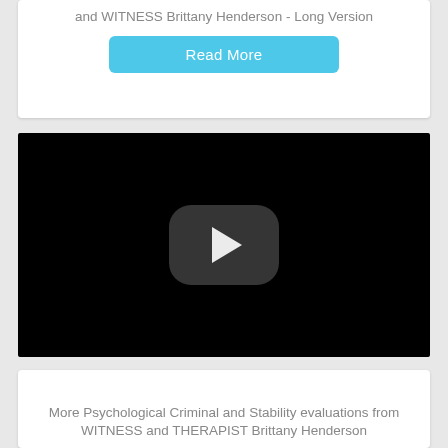and WITNESS Brittany Henderson - Long Version
Read More
[Figure (screenshot): Video player with black background and a rounded rectangle play button in the center containing a white play triangle.]
More Psychological Criminal and Stability evaluations from WITNESS and THERAPIST Brittany Henderson